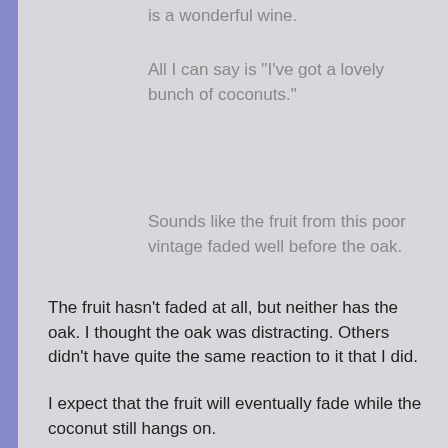is a wonderful wine.
All I can say is "I've got a lovely bunch of coconuts."
Sounds like the fruit from this poor vintage faded well before the oak.
The fruit hasn't faded at all, but neither has the oak. I thought the oak was distracting. Others didn't have quite the same reaction to it that I did.
I expect that the fruit will eventually fade while the coconut still hangs on.